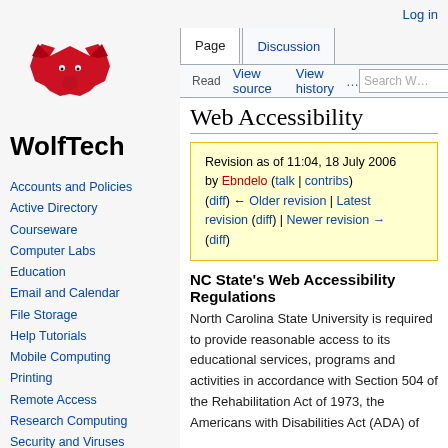Log in
[Figure (logo): WolfTech logo with red howling wolf silhouette and bold text 'WolfTech']
Accounts and Policies
Active Directory
Courseware
Computer Labs
Education
Email and Calendar
File Storage
Help Tutorials
Mobile Computing
Printing
Remote Access
Research Computing
Security and Viruses
Software and Hardware
Web Accessibility
Revision as of 11:04, 18 July 2006 by Ebndelo (talk | contribs) (diff) ← Older revision | Latest revision (diff) | Newer revision → (diff)
NC State's Web Accessibility Regulations
North Carolina State University is required to provide reasonable access to its educational services, programs and activities in accordance with Section 504 of the Rehabilitation Act of 1973, the Americans with Disabilities Act (ADA) of 1990, and North Carolina state law (it.C...